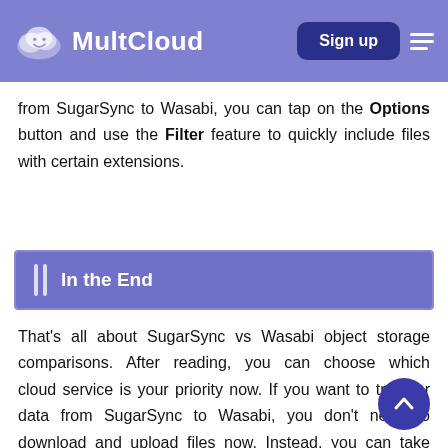MultCloud — Sign up
from SugarSync to Wasabi, you can tap on the Options button and use the Filter feature to quickly include files with certain extensions.
In the End
That's all about SugarSync vs Wasabi object storage comparisons. After reading, you can choose which cloud service is your priority now. If you want to transfer data from SugarSync to Wasabi, you don't need to download and upload files now. Instead, you can take advantage of MultCloud to make data migration quickly and seamlessly.